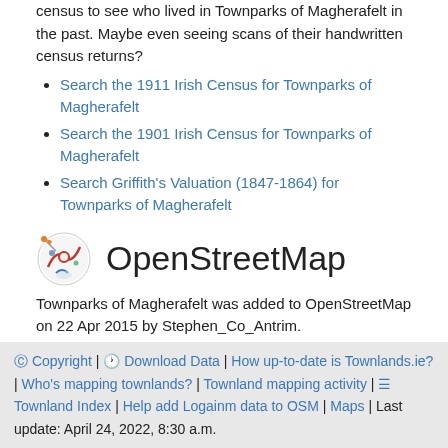census to see who lived in Townparks of Magherafelt in the past. Maybe even seeing scans of their handwritten census returns?
Search the 1911 Irish Census for Townparks of Magherafelt
Search the 1901 Irish Census for Townparks of Magherafelt
Search Griffith's Valuation (1847-1864) for Townparks of Magherafelt
OpenStreetMap
Townparks of Magherafelt was added to OpenStreetMap on 22 Apr 2015 by Stephen_Co_Antrim.
View
View on OpenStreetMap.org | Show Changes
Edit
JOSM | iD | Potlatch | Level0
© Copyright | ⏱ Download Data | How up-to-date is Townlands.ie? | Who's mapping townlands? | Townland mapping activity | ≡ Townland Index | Help add Logainm data to OSM | Maps | Last update: April 24, 2022, 8:30 a.m.